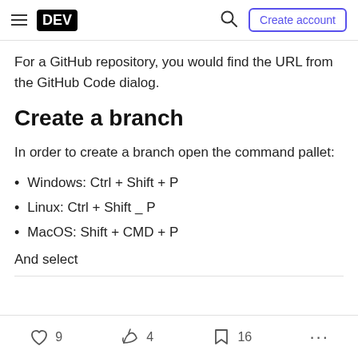DEV | Create account
For a GitHub repository, you would find the URL from the GitHub Code dialog.
Create a branch
In order to create a branch open the command pallet:
Windows: Ctrl + Shift + P
Linux: Ctrl + Shift _ P
MacOS: Shift + CMD + P
And select
9  4  16  ...